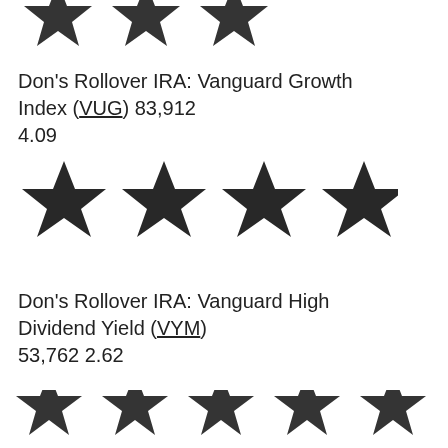[Figure (other): Three black stars (partial rating display, top of page)]
Don's Rollover IRA: Vanguard Growth Index (VUG) 83,912 4.09
[Figure (other): Four black stars (rating display)]
Don's Rollover IRA: Vanguard High Dividend Yield (VYM) 53,762 2.62
[Figure (other): Five black stars (partial, bottom of page, rating display)]